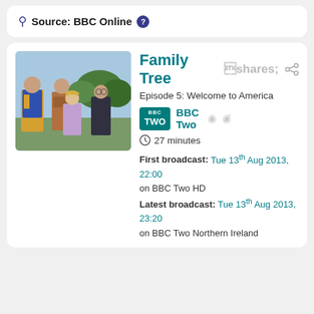Source: BBC Online ?
Family Tree
Episode 5: Welcome to America
BBC Two
27 minutes
First broadcast: Tue 13th Aug 2013, 22:00 on BBC Two HD
Latest broadcast: Tue 13th Aug 2013, 23:20 on BBC Two Northern Ireland